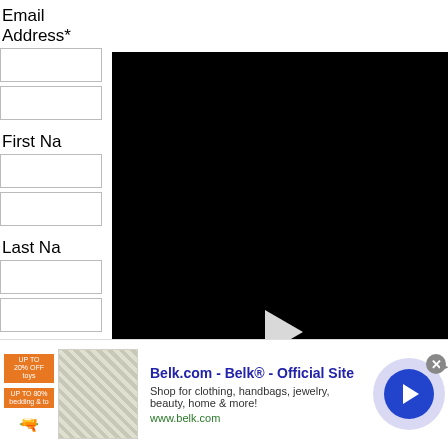Email Address*
First Na
Last Na
[Figure (screenshot): Black video player overlay with a white play button triangle in the center]
* = required field
Subscribe
[Figure (screenshot): Advertisement banner for Belk.com - Belk Official Site. Shows clothing/bedding image, ad text, and a blue circular arrow button. Has close X button.]